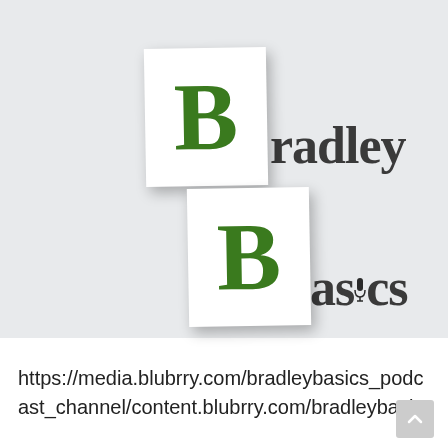[Figure (logo): Bradley Basics podcast logo: two white cards with green letter B on each, with 'radley' and 'asics' text beside them in dark gray, on a light gray background. The 'i' in 'asics' contains a microphone icon.]
https://media.blubrry.com/bradleybasics_podcast_channel/content.blubrry.com/bradleybasic